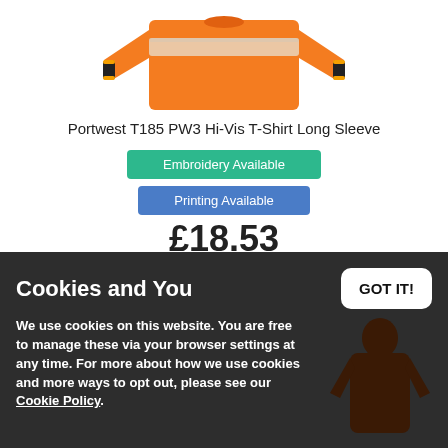[Figure (photo): Orange hi-vis long sleeve t-shirt, partial view showing the torso and sleeves with reflective stripe and black cuffs]
Portwest T185 PW3 Hi-Vis T-Shirt Long Sleeve
Embroidery Available
Printing Available
£18.53
★★★★½ (1)
Cookies and You
We use cookies on this website. You are free to manage these via your browser settings at any time. For more about how we use cookies and more ways to opt out, please see our Cookie Policy.
GOT IT!